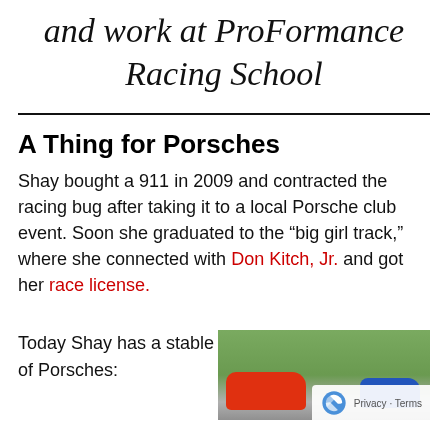and work at ProFormance Racing School
A Thing for Porsches
Shay bought a 911 in 2009 and contracted the racing bug after taking it to a local Porsche club event. Soon she graduated to the “big girl track,” where she connected with Don Kitch, Jr. and got her race license.
Today Shay has a stable of Porsches:
[Figure (photo): Photo of Porsche race cars on track, red car in foreground, blue car behind, green trees in background]